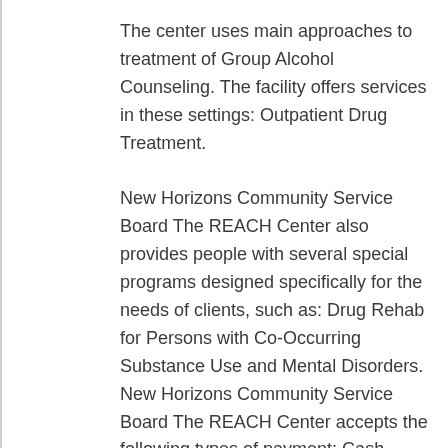The center uses main approaches to treatment of Group Alcohol Counseling. The facility offers services in these settings: Outpatient Drug Treatment.
New Horizons Community Service Board The REACH Center also provides people with several special programs designed specifically for the needs of clients, such as: Drug Rehab for Persons with Co-Occurring Substance Use and Mental Disorders. New Horizons Community Service Board The REACH Center accepts the following types of payment: Cash Payment, Medicaid for Alcohol and Drug Treatment, Insurance Through Medicare.